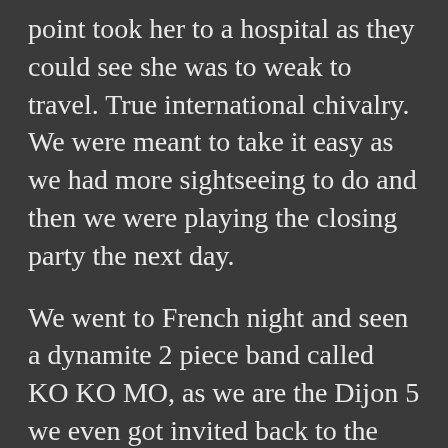point took her to a hospital as they could see she was to weak to travel. True international chivalry. We were meant to take it easy as we had more sightseeing to do and then we were playing the closing party the next day.

We went to French night and seen a dynamite 2 piece band called KO KO MO, as we are the Dijon 5 we even got invited back to the French after party, we walked there with Danish journalist Mika who had a massive knowledge of Scottish bands and was amazed that I'd played football with Stuart from Belle and Sebastian. When we got to the bar the Stone Roses were blasting from the speakers , we made friends with a couple of folk. The band J and The 9's and Frank from Ooberfuse, we attempted to get an early night , getting up the